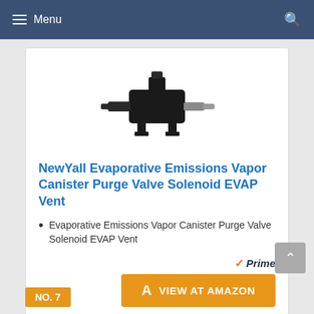Menu
[Figure (photo): Black plastic evaporative emissions vapor canister purge valve solenoid EVAP vent component with hose connectors]
NewYall Evaporative Emissions Vapor Canister Purge Valve Solenoid EVAP Vent
Evaporative Emissions Vapor Canister Purge Valve Solenoid EVAP Vent
Prime VIEW AT AMAZON